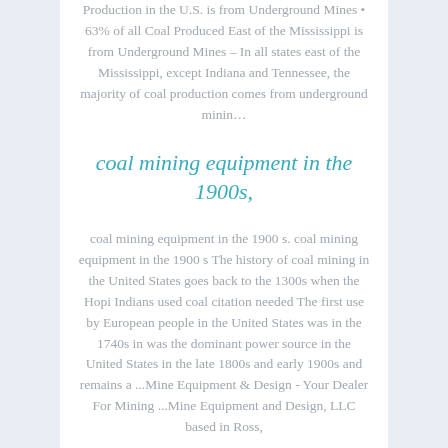Production in the U.S. is from Underground Mines • 63% of all Coal Produced East of the Mississippi is from Underground Mines – In all states east of the Mississippi, except Indiana and Tennessee, the majority of coal production comes from underground minin…
coal mining equipment in the 1900s,
coal mining equipment in the 1900 s. coal mining equipment in the 1900 s The history of coal mining in the United States goes back to the 1300s when the Hopi Indians used coal citation needed The first use by European people in the United States was in the 1740s in was the dominant power source in the United States in the late 1800s and early 1900s and remains a ...Mine Equipment & Design - Your Dealer For Mining ...Mine Equipment and Design, LLC based in Ross,